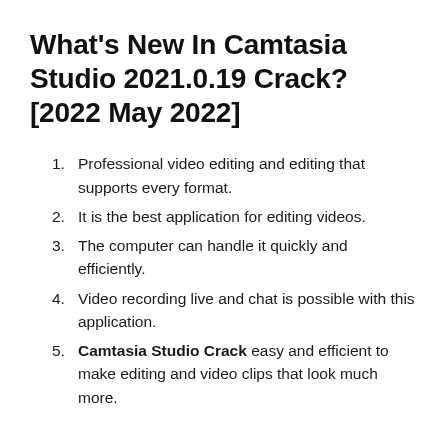What's New In Camtasia Studio 2021.0.19 Crack? [2022 May 2022]
Professional video editing and editing that supports every format.
It is the best application for editing videos.
The computer can handle it quickly and efficiently.
Video recording live and chat is possible with this application.
Camtasia Studio Crack easy and efficient to make editing and video clips that look much more.